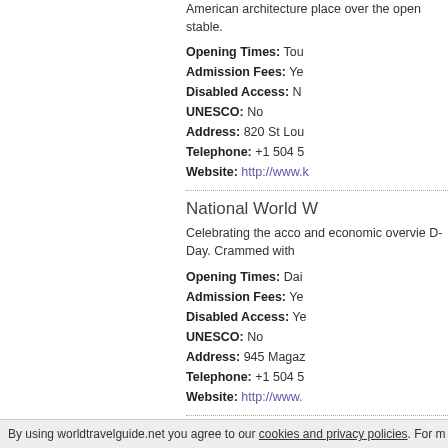American architecture place over the open stable.
Opening Times: Tou
Admission Fees: Ye
Disabled Access: N
UNESCO: No
Address: 820 St Lou
Telephone: +1 504 5
Website: http://www.
National World W
Celebrating the acco and economic overvie D-Day. Crammed with
Opening Times: Dai
Admission Fees: Ye
Disabled Access: Ye
UNESCO: No
Address: 945 Magaz
Telephone: +1 504 5
Website: http://www.
St Louis Cemeter
New Orleans is fame difficult, so people h
By using worldtravelguide.net you agree to our cookies and privacy policies. For m